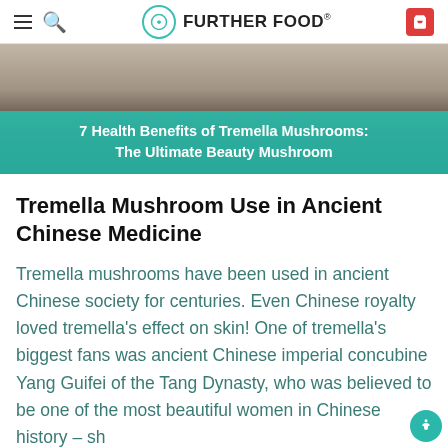FURTHER FOOD®
[Figure (photo): Hero image of Tremella mushrooms with teal overlay banner reading '7 Health Benefits of Tremella Mushrooms: The Ultimate Beauty Mushroom']
Tremella Mushroom Use in Ancient Chinese Medicine
Tremella mushrooms have been used in ancient Chinese society for centuries. Even Chinese royalty loved tremella's effect on skin! One of tremella's biggest fans was ancient Chinese imperial concubine Yang Guifei of the Tang Dynasty, who was believed to be one of the most beautiful women in Chinese history – sh…